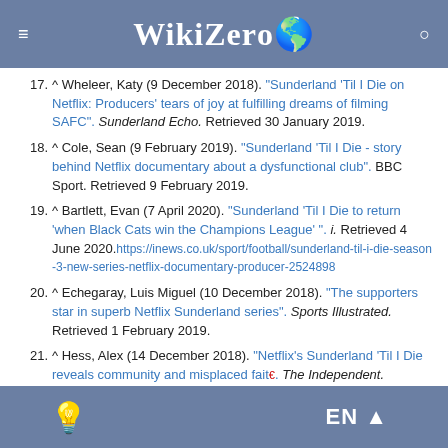WikiZero
17. ^ Wheleer, Katy (9 December 2018). "Sunderland 'Til I Die on Netflix: Producers' tears of joy at fulfilling dreams of filming SAFC". Sunderland Echo. Retrieved 30 January 2019.
18. ^ Cole, Sean (9 February 2019). "Sunderland 'Til I Die - story behind Netflix documentary about a dysfunctional club". BBC Sport. Retrieved 9 February 2019.
19. ^ Bartlett, Evan (7 April 2020). "Sunderland 'Til I Die to return 'when Black Cats win the Champions League' ". i. Retrieved 4 June 2020.https://inews.co.uk/sport/football/sunderland-til-i-die-season-3-new-series-netflix-documentary-producer-2524898
20. ^ Echegaray, Luis Miguel (10 December 2018). "The supporters star in superb Netflix Sunderland series". Sports Illustrated. Retrieved 1 February 2019.
21. ^ Hess, Alex (14 December 2018). "Netflix's Sunderland 'Til I Die reveals community and misplaced faith". The Independent. Archived from the original on 25 May 2022. Retrieved 1 February 2019.
EN